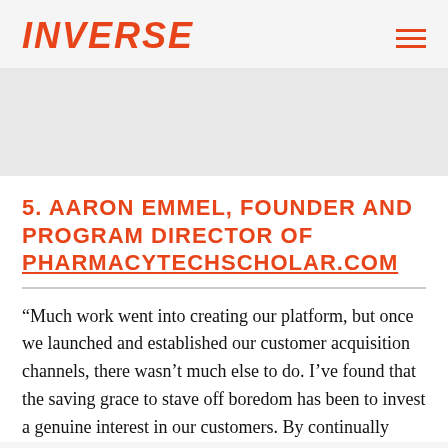INVERSE
5. AARON EMMEL, FOUNDER AND PROGRAM DIRECTOR OF PHARMACYTECHSCHOLAR.COM
“Much work went into creating our platform, but once we launched and established our customer acquisition channels, there wasn’t much else to do. I’ve found that the saving grace to stave off boredom has been to invest a genuine interest in our customers. By continually